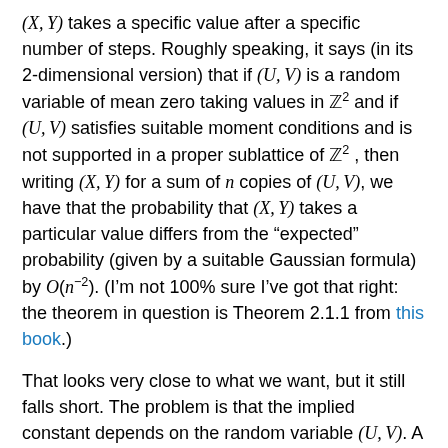(X, Y) takes a specific value after a specific number of steps. Roughly speaking, it says (in its 2-dimensional version) that if (U, V) is a random variable of mean zero taking values in Z² and if (U, V) satisfies suitable moment conditions and is not supported in a proper sublattice of Z², then writing (X, Y) for a sum of n copies of (U, V), we have that the probability that (X, Y) takes a particular value differs from the "expected" probability (given by a suitable Gaussian formula) by O(n⁻²). (I'm not 100% sure I've got that right: the theorem in question is Theorem 2.1.1 from this book.)
That looks very close to what we want, but it still falls short. The problem is that the implied constant depends on the random variable (U, V). A simple proof of this is that if (U, V) is not supported in a sublattice but very nearly is — for example, if the probability that it takes a value outside